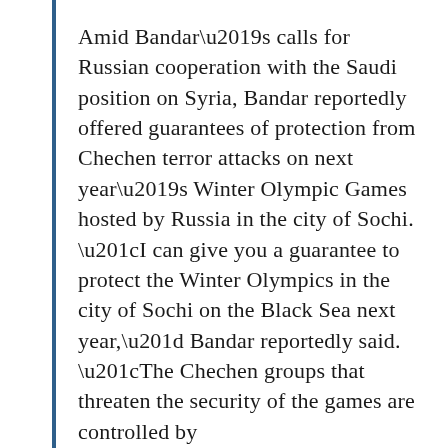Amid Bandar’s calls for Russian cooperation with the Saudi position on Syria, Bandar reportedly offered guarantees of protection from Chechen terror attacks on next year’s Winter Olympic Games hosted by Russia in the city of Sochi. “I can give you a guarantee to protect the Winter Olympics in the city of Sochi on the Black Sea next year,” Bandar reportedly said. “The Chechen groups that threaten the security of the games are controlled by